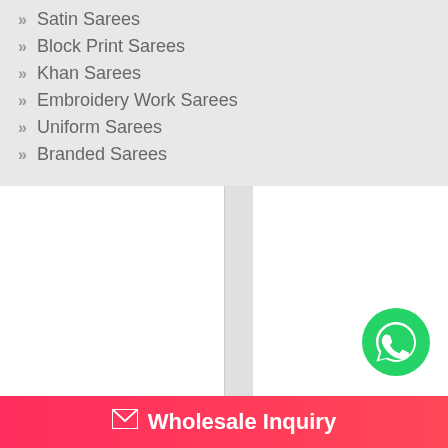Satin Sarees
Block Print Sarees
Khan Sarees
Embroidery Work Sarees
Uniform Sarees
Branded Sarees
[Figure (logo): WhatsApp contact button icon (green circle with white phone/chat icon)]
Wholesale Inquiry